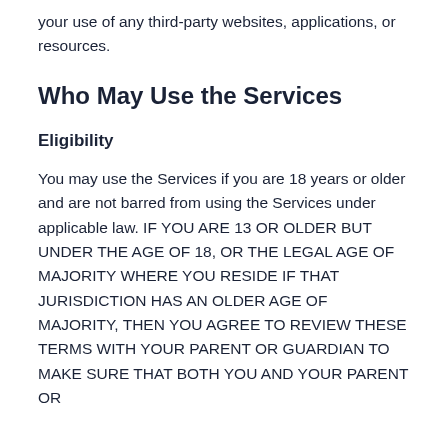your use of any third-party websites, applications, or resources.
Who May Use the Services
Eligibility
You may use the Services if you are 18 years or older and are not barred from using the Services under applicable law. IF YOU ARE 13 OR OLDER BUT UNDER THE AGE OF 18, OR THE LEGAL AGE OF MAJORITY WHERE YOU RESIDE IF THAT JURISDICTION HAS AN OLDER AGE OF MAJORITY, THEN YOU AGREE TO REVIEW THESE TERMS WITH YOUR PARENT OR GUARDIAN TO MAKE SURE THAT BOTH YOU AND YOUR PARENT OR